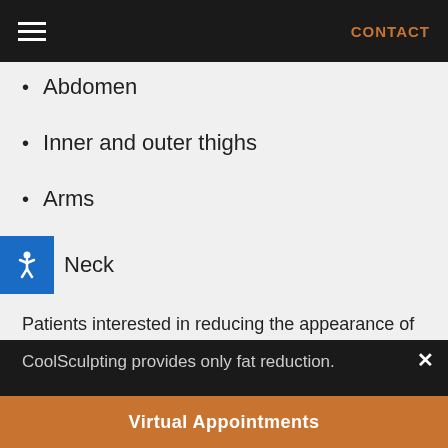CONTACT
Abdomen
Inner and outer thighs
Arms
Neck
Patients interested in reducing the appearance of cellulite might consider QWO® injections since CoolSculpting provides only fat reduction.
Virtual Appointments